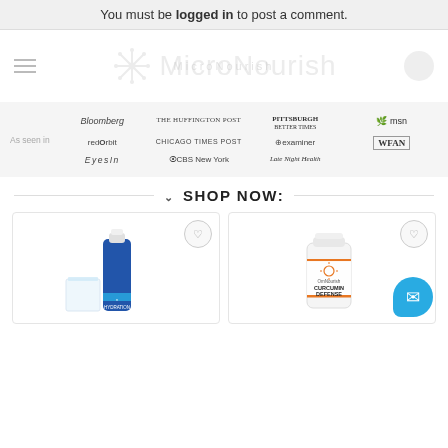You must be logged in to post a comment.
[Figure (logo): MicroNourish logo with snowflake icon and text, watermark style]
[Figure (infographic): As seen in media logos: Bloomberg, The Huffington Post, Pittsburgh Better Times, msn, redOrbit, Chicago Times Post, examiner, WFAN, EyesIn, CBS New York, Late Night Health]
SHOP NOW:
[Figure (photo): Product card: Hydration Infusion bottle (blue) with glass]
[Figure (photo): Product card: Curcumin Defense supplement bottle (white with orange label)]